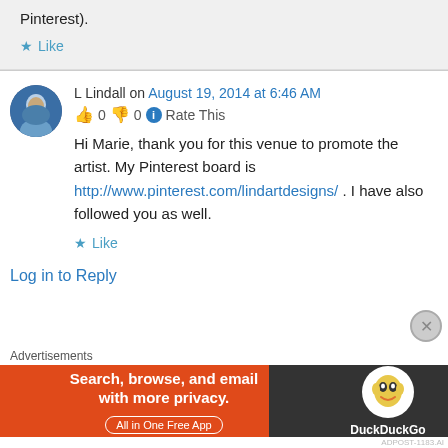Pinterest).
★ Like
L Lindall on August 19, 2014 at 6:46 AM
👍 0 👎 0 ℹ Rate This
Hi Marie, thank you for this venue to promote the artist. My Pinterest board is http://www.pinterest.com/lindartdesigns/ . I have also followed you as well.
★ Like
Log in to Reply
Advertisements
[Figure (screenshot): DuckDuckGo advertisement banner: Search, browse, and email with more privacy. All in One Free App.]